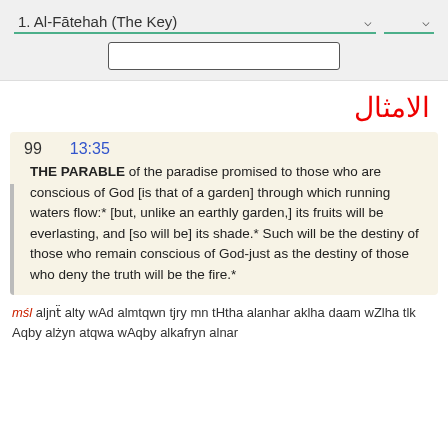1. Al-Fātehah (The Key)
الامثال
99   13:35
THE PARABLE of the paradise promised to those who are conscious of God [is that of a garden] through which running waters flow:* [but, unlike an earthly garden,] its fruits will be everlasting, and [so will be] its shade.* Such will be the destiny of those who remain conscious of God-just as the destiny of those who deny the truth will be the fire.*
mśl aljnẗ alty wAd almtqwn tjry mn tHtha alanhar aklha daam wZlha tlk Aqby alżyn atqwa wAqby alkafryn alnar